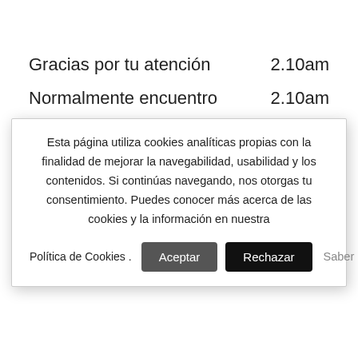| Gracias por tu atención | 2.10am |
| Normalmente encuentro | 2.10am |
Esta página utiliza cookies analíticas propias con la finalidad de mejorar la navegabilidad, usabilidad y los contenidos. Si continúas navegando, nos otorgas tu consentimiento. Puedes conocer más acerca de las cookies y la información en nuestra
Política de Cookies . Aceptar Rechazar Saber más